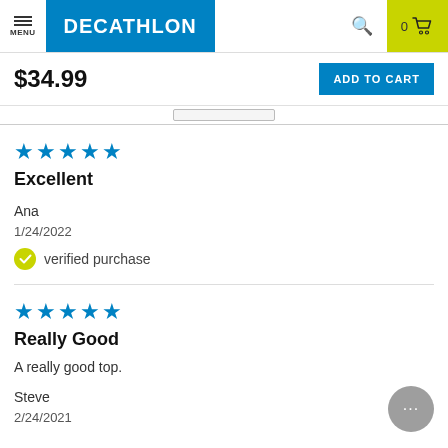MENU | DECATHLON | Search | 0 Cart
$34.99
ADD TO CART
★★★★★ Excellent
Ana
1/24/2022
verified purchase
★★★★★ Really Good
A really good top.
Steve
2/24/2021